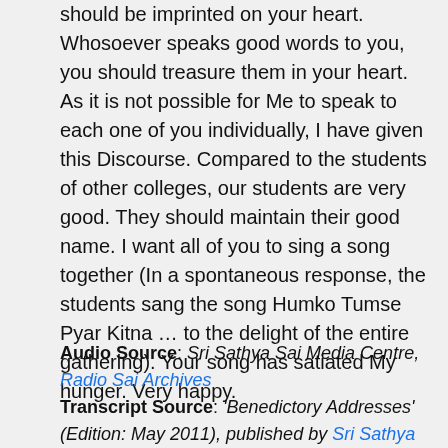should be imprinted on your heart. Whosoever speaks good words to you, you should treasure them in your heart. As it is not possible for Me to speak to each one of you individually, I have given this Discourse. Compared to the students of other colleges, our students are very good. They should maintain their good name. I want all of you to sing a song together (In a spontaneous response, the students sang the song Humko Tumse Pyar Kitna … to the delight of the entire gathering). Your song has satiated My hunger. Very happy.
Audio Source: Sri Sathya Sai Media Centre, Radio Sai Archives
Transcript Source: 'Benedictory Addresses' (Edition: May 2011), published by Sri Sathya